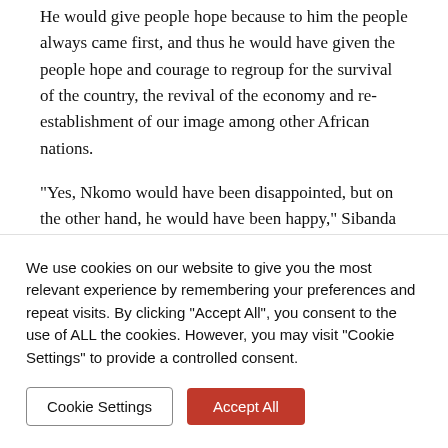He would give people hope because to him the people always came first, and thus he would have given the people hope and courage to regroup for the survival of the country, the revival of the economy and re-establishment of our image among other African nations.
“Yes, Nkomo would have been disappointed, but on the other hand, he would have been happy,” Sibanda said.
No related posts.
[Figure (other): Social share buttons: Twitter (blue), Facebook (dark blue), Pinterest (red), WhatsApp (green), Email (orange-red)]
We use cookies on our website to give you the most relevant experience by remembering your preferences and repeat visits. By clicking “Accept All”, you consent to the use of ALL the cookies. However, you may visit "Cookie Settings" to provide a controlled consent.
Cookie Settings   Accept All